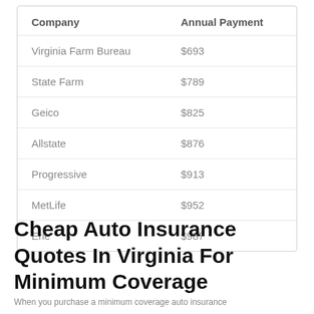| Company | Annual Payment |
| --- | --- |
| Virginia Farm Bureau | $693 |
| State Farm | $789 |
| Geico | $825 |
| Allstate | $876 |
| Progressive | $913 |
| MetLife | $952 |
| Erie | $987 |
Cheap Auto Insurance Quotes In Virginia For Minimum Coverage
When you purchase a minimum coverage auto insurance...